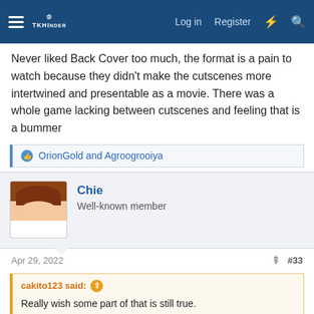Navigation bar with hamburger menu, logo, Log in, Register links and icons
Never liked Back Cover too much, the format is a pain to watch because they didn't make the cutscenes more intertwined and presentable as a movie. There was a whole game lacking between cutscenes and feeling that is a bummer
OrionGold and Agroogrooiya
Chie
Well-known member
Apr 29, 2022 #33
cakito123 said:
Really wish some part of that is still true.
Never liked Back Cover too much, the format is a pain to watch because they didn't make the cutscenes more intertwined and presentable as a movie. There was a whole game lacking between cutscenes and feeling that is a bummer